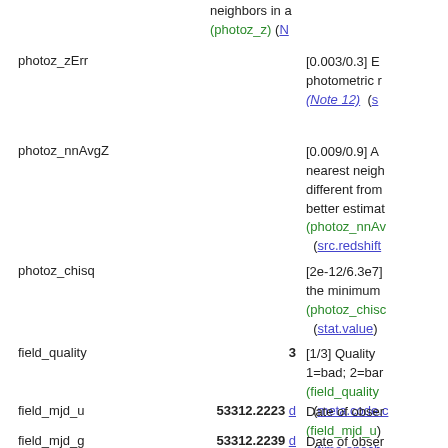neighbors in a (photoz_z) (N
photoz_zErr | | [0.003/0.3] E photometric r (Note 12) (s
photoz_nnAvgZ | | [0.009/0.9] A nearest neigh different from better estimat (photoz_nnAv (src.redshift
photoz_chisq | | [2e-12/6.3e7] the minimum (photoz_chisc (stat.value)
field_quality | 3 | [1/3] Quality 1=bad; 2=bar (field_quality (meta.code.c
field_mjd_u | 53312.2223 d | Date of obser (field_mjd_u) (time.epoch
field_mjd_g | 53312.2239 d | Date of obser (field_mjd_g